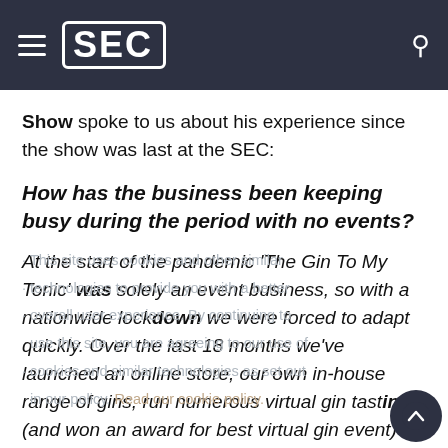SEC
Show spoke to us about his experience since the show was last at the SEC:
How has the business been keeping busy during the period with no events?
At the start of the pandemic 'The Gin To My Tonic' was solely an event business, so with a nationwide lockdown we were forced to adapt quickly. Over the last 18 months we've launched an online store, our own in-house range of gins, run numerous virtual gin tastings (and won an award for best virtual gin event) and opened a gin bar in our hometown. With events now back, we are busier than ever, but it's taken been lots of hard work and perseverance to get this point. If it was for the pandemic, we may not have evolved in the way